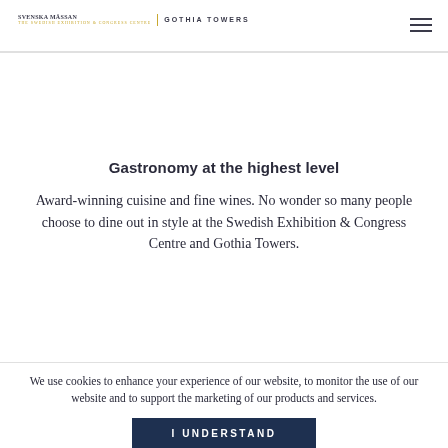Swedish Exhibition & Congress Centre / Gothia Towers logo and navigation
Gastronomy at the highest level
Award-winning cuisine and fine wines. No wonder so many people choose to dine out in style at the Swedish Exhibition & Congress Centre and Gothia Towers.
We use cookies to enhance your experience of our website, to monitor the use of our website and to support the marketing of our products and services.
I UNDERSTAND